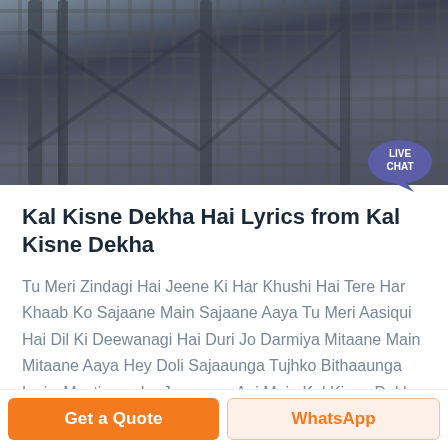[Figure (photo): Industrial scaffolding or metal frame structure photograph, dark steel girders and columns against an outdoor background]
Kal Kisne Dekha Hai Lyrics from Kal Kisne Dekha
Tu Meri Zindagi Hai Jeene Ki Har Khushi Hai Tere Har Khaab Ko Sajaane Main Sajaane Aaya Tu Meri Aasiqui Hai Dil Ki Deewanagi Hai Duri Jo Darmiya Mitaane Main Mitaane Aaya Hey Doli Sajaaunga Tujhko Bithaaunga LyricsMasti com Le Jaayunga Aaj Main Kal Kisne Dekha Hai Kal Kisne Dekha Kal Kisne Dekha Hai Kal Kisne Dekha LyricsMasti com Main
Get a Quote
WhatsApp